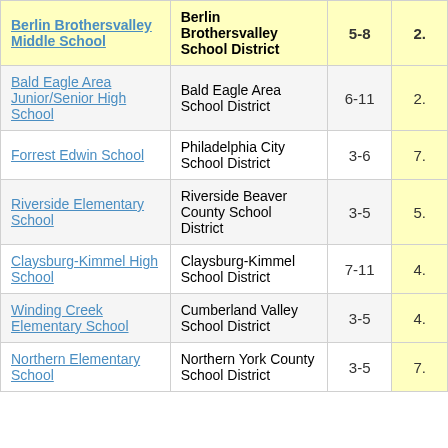| School | District | Grades |  |
| --- | --- | --- | --- |
| Berlin Brothersvalley Middle School | Berlin Brothersvalley School District | 5-8 | 2. |
| Bald Eagle Area Junior/Senior High School | Bald Eagle Area School District | 6-11 | 2. |
| Forrest Edwin School | Philadelphia City School District | 3-6 | 7. |
| Riverside Elementary School | Riverside Beaver County School District | 3-5 | 5. |
| Claysburg-Kimmel High School | Claysburg-Kimmel School District | 7-11 | 4. |
| Winding Creek Elementary School | Cumberland Valley School District | 3-5 | 4. |
| Northern Elementary School | Northern York County School District | 3-5 | 7. |